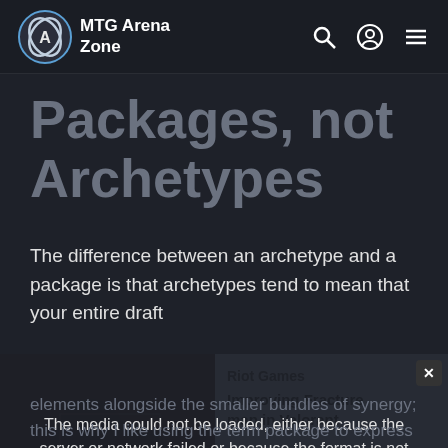MTG Arena Zone
Packages, not Archetypes
The difference between an archetype and a package is that archetypes tend to mean that your entire draft
[Figure (screenshot): Embedded video player showing a Riot Games video titled 'Improving Fracture map in Valorant' with a media load error overlay: 'The media could not be loaded, either because the server or network failed or because the format is not supported.' and a close X button.]
elements alongside the smaller bundles of synergy; this is why I like using the term package to express